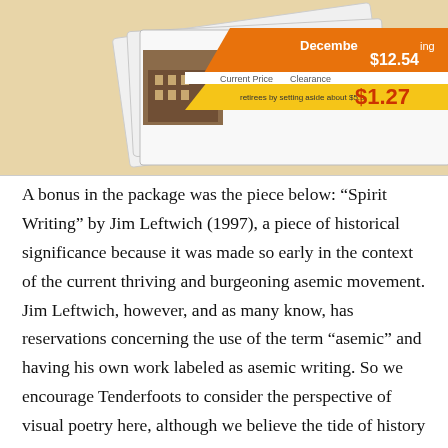[Figure (photo): A photograph of envelopes/packages on a light wooden surface. One envelope has orange and yellow price tag labels showing '$12.54', '$1.27', and text including 'December', 'Current Price', and 'retirees by setting aside about $5.5'. A building image is partially visible on one of the items.]
A bonus in the package was the piece below: “Spirit Writing” by Jim Leftwich (1997), a piece of historical significance because it was made so early in the context of the current thriving and burgeoning asemic movement. Jim Leftwich, however, and as many know, has reservations concerning the use of the term “asemic” and having his own work labeled as asemic writing. So we encourage Tenderfoots to consider the perspective of visual poetry here, although we believe the tide of history is very likely to identify Jim Leftwich as an asemic writer (among other designations):